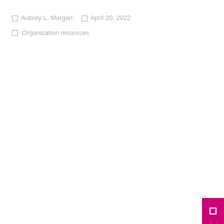Aubrey L. Morgan   April 20, 2022
Organization resources